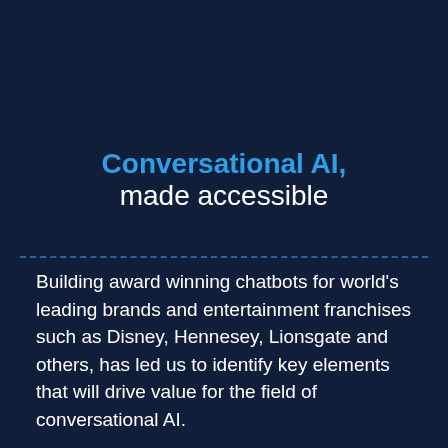Conversational AI, made accessible
Building award winning chatbots for world's leading brands and entertainment franchises such as Disney, Hennesey, Lionsgate and others, has led us to identify key elements that will drive value for the field of conversational AI.